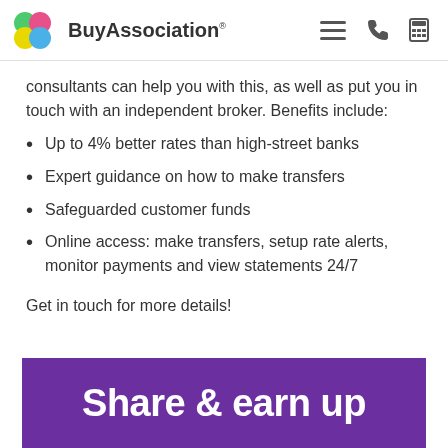BuyAssociation
consultants can help you with this, as well as put you in touch with an independent broker. Benefits include:
Up to 4% better rates than high-street banks
Expert guidance on how to make transfers
Safeguarded customer funds
Online access: make transfers, setup rate alerts, monitor payments and view statements 24/7
Get in touch for more details!
Share & earn up